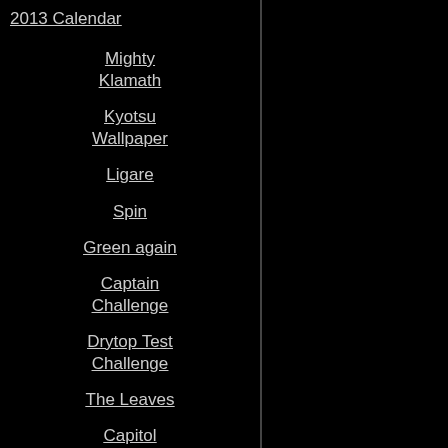2013 Calendar
Mighty Klamath
Kyotsu Wallpaper
Ligare
Spin
Green again
Captain Challenge
Drytop Test Challenge
The Leaves
Capitol Moonrise